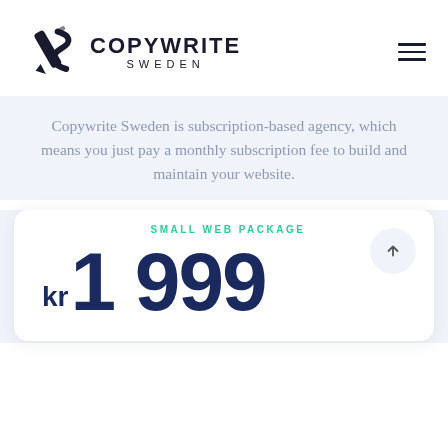[Figure (logo): Copywrite Sweden logo with stylized pencil/S icon and company name text]
Copywrite Sweden is subscription-based agency, which means you just pay a monthly subscription fee to build and maintain your website.
SMALL WEB PACKAGE
kr1 999